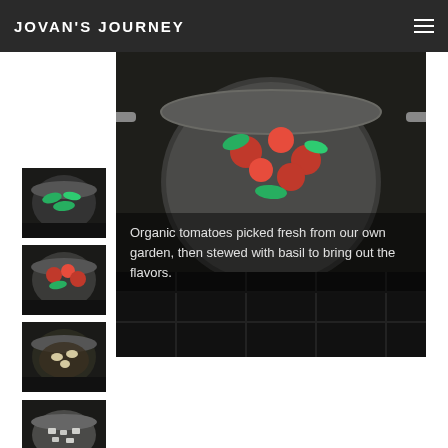JOVAN'S JOURNEY
[Figure (photo): Large photo of a stainless steel pot on a stove burner with tomatoes and basil leaves being stewed, viewed from above at an angle. Dark background.]
Organic tomatoes picked fresh from our own garden, then stewed with basil to bring out the flavors.
[Figure (photo): Small thumbnail photo of a pot with green vegetables and basil on a stovetop burner.]
[Figure (photo): Small thumbnail photo of a pot with red cherry tomatoes and green basil leaves.]
[Figure (photo): Small thumbnail photo of a pot with garlic cloves and liquid/oil cooking.]
[Figure (photo): Small thumbnail photo of chopped white/light colored ingredients in a pot or pan.]